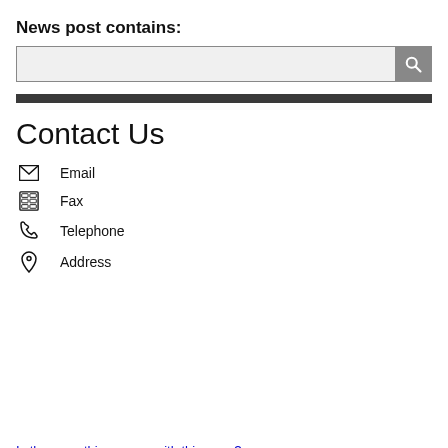News post contains:
[Figure (screenshot): Search input box with a search button icon on the right]
Contact Us
Email
Fax
Telephone
Address
Is there anything wrong with this page?